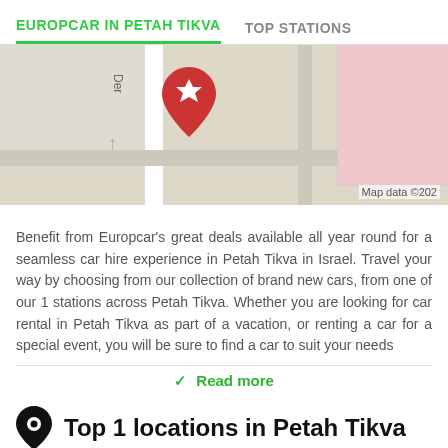EUROPCAR IN PETAH TIKVA | TOP STATIONS
[Figure (map): Map showing Europcar location pin in Petah Tikva with a red location marker featuring a star of david symbol.]
Benefit from Europcar's great deals available all year round for a seamless car hire experience in Petah Tikva in Israel. Travel your way by choosing from our collection of brand new cars, from one of our 1 stations across Petah Tikva. Whether you are looking for car rental in Petah Tikva as part of a vacation, or renting a car for a special event, you will be sure to find a car to suit your needs
Read more
Top 1 locations in Petah Tikva
Petah Tikva